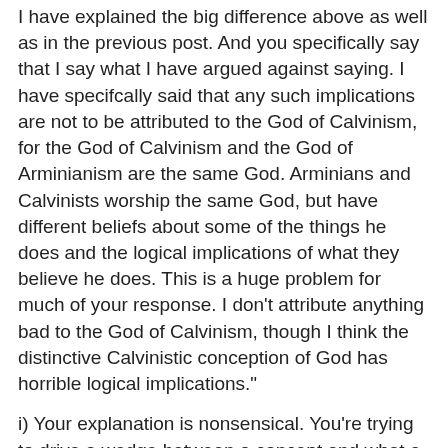I have explained the big difference above as well as in the previous post. And you specifically say that I say what I have argued against saying. I have specifcally said that any such implications are not to be attributed to the God of Calvinism, for the God of Calvinism and the God of Arminianism are the same God. Arminians and Calvinists worship the same God, but have different beliefs about some of the things he does and the logical implications of what they believe he does. This is a huge problem for much of your response. I don't attribute anything bad to the God of Calvinism, though I think the distinctive Calvinistic conception of God has horrible logical implications."
i) Your explanation is nonsensical. You're trying to drive a wedge between a concept and what a concept entails. But whatever a concept entails is part of the concept. That's the point of logical entailment. A concept is inclusive of whatever it entails. A logical unit.
ii) Perhaps what you're attempting to do, in your muddled way, is to differentiate between logic and psychology. It is possible to distinguish between what people consciously